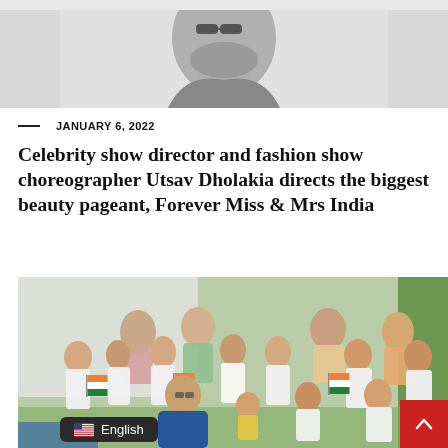[Figure (photo): Black and white portrait photo of a man with beard and sunglasses, cropped at top of page]
— JANUARY 6, 2022
Celebrity show director and fashion show choreographer Utsav Dholakia directs the biggest beauty pageant, Forever Miss & Mrs India
[Figure (photo): Color group photo of a man in blue shirt crouching in front of a large group of children wearing white clothes and holding Indian tricolor flags, outdoors with green and white background.]
English